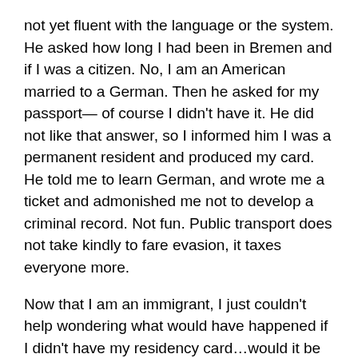not yet fluent with the language or the system. He asked how long I had been in Bremen and if I was a citizen. No, I am an American married to a German. Then he asked for my passport— of course I didn't have it. He did not like that answer, so I informed him I was a permanent resident and produced my card. He told me to learn German, and wrote me a ticket and admonished me not to develop a criminal record. Not fun. Public transport does not take kindly to fare evasion, it taxes everyone more.
Now that I am an immigrant, I just couldn't help wondering what would have happened if I didn't have my residency card…would it be something like not having your green card while Mexican in California? I think I will avoid that experiment.
3. The Market